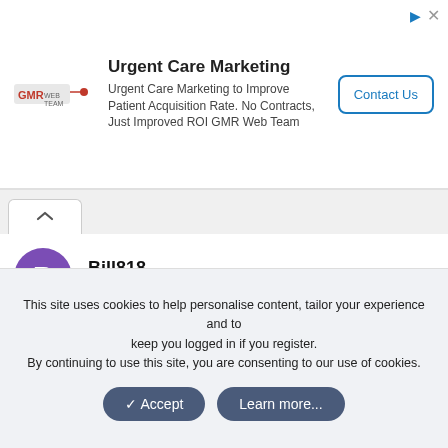[Figure (screenshot): Ad banner for Urgent Care Marketing by GMR Web Team, with a Contact Us button]
Bill818
New Member
Feb 3, 2014
#63
Thanks to all!!!!. I'll give it shot.
▶ My Computer
This site uses cookies to help personalise content, tailor your experience and to keep you logged in if you register.
By continuing to use this site, you are consenting to our use of cookies.